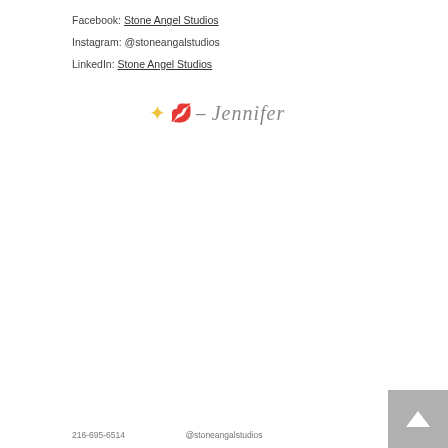Facebook: Stone Angel Studios
Instagram: @stoneangalstudios
LinkedIn: Stone Angel Studios
[Figure (illustration): Decorative signature with sparkle emoji, lips emoji, dash, and cursive text 'Jennifer' in grey italic font]
216-695-6514   @stoneangalstudios   8